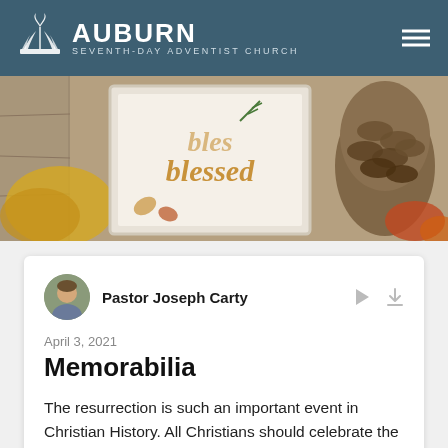AUBURN SEVENTH-DAY ADVENTIST CHURCH
[Figure (photo): Autumn-themed photo showing a framed 'blessed' sign with fall leaves and a pinecone]
Pastor Joseph Carty
April 3, 2021
Memorabilia
The resurrection is such an important event in Christian History. All Christians should celebrate the Power of that Sunday morning. Yet, so many Christians end up celebrating in a way that is